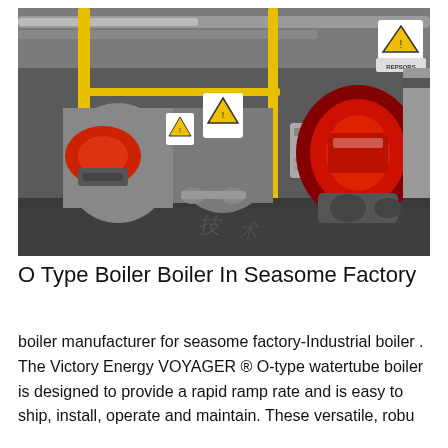[Figure (photo): Industrial boiler room showing multiple O-type boilers with red burner heads, yellow gas pipes, a gray control panel, warning signs, and steel pipe infrastructure on a dark tiled floor.]
O Type Boiler Boiler In Seasome Factory
boiler manufacturer for seasome factory-Industrial boiler . The Victory Energy VOYAGER ® O-type watertube boiler is designed to provide a rapid ramp rate and is easy to ship, install, operate and maintain. These versatile, robu